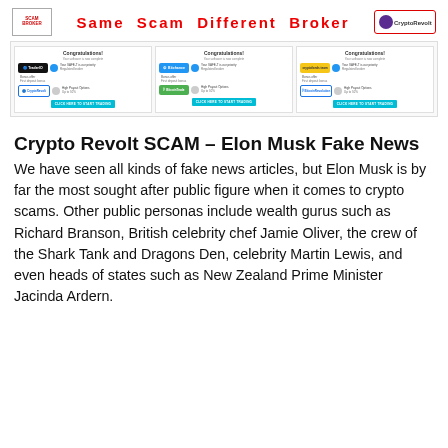Same Scam Different Broker
[Figure (screenshot): Three side-by-side screenshots of broker congratulations pages each showing logos of Trader/CryptoRevolt/BitcoinTrade etc. with 'CLICK HERE TO START TRADING' buttons]
Crypto Revolt SCAM – Elon Musk Fake News
We have seen all kinds of fake news articles, but Elon Musk is by far the most sought after public figure when it comes to crypto scams. Other public personas include wealth gurus such as Richard Branson, British celebrity chef Jamie Oliver, the crew of the Shark Tank and Dragons Den, celebrity Martin Lewis, and even heads of states such as New Zealand Prime Minister Jacinda Ardern.